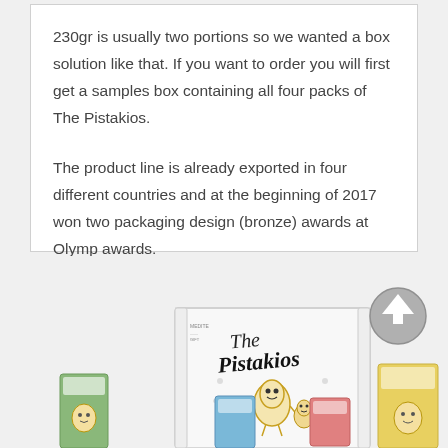230gr is usually two portions so we wanted a box solution like that. If you want to order you will first get a samples box containing all four packs of The Pistakios.

The product line is already exported in four different countries and at the beginning of 2017 won two packaging design (bronze) awards at Olymp awards.
[Figure (photo): Photo of 'The Pistakios' product line showing a white box with illustrated pistachio characters and several smaller individual pistachio snack packs in different colors (green, blue, red, yellow). A circular up-arrow button is visible on the right side.]